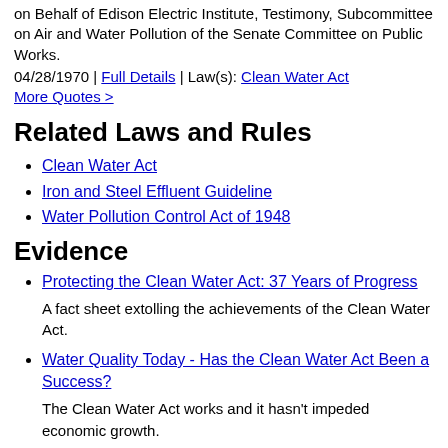on Behalf of Edison Electric Institute, Testimony, Subcommittee on Air and Water Pollution of the Senate Committee on Public Works.
04/28/1970 | Full Details | Law(s): Clean Water Act
More Quotes >
Related Laws and Rules
Clean Water Act
Iron and Steel Effluent Guideline
Water Pollution Control Act of 1948
Evidence
Protecting the Clean Water Act: 37 Years of Progress
A fact sheet extolling the achievements of the Clean Water Act.
Water Quality Today - Has the Clean Water Act Been a Success?
The Clean Water Act works and it hasn't impeded economic growth.